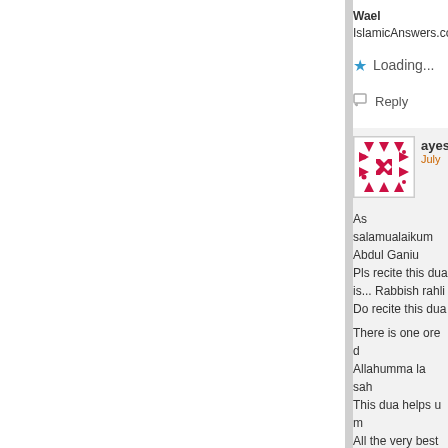Wael
IslamicAnswers.co
Loading...
Reply
[Figure (illustration): Avatar image with red geometric pattern on white background]
ayes
July
As salamualaikum
Abdul Ganiu
Pls recite this dua
is... Rabbish rahli
Do recite this dua
There is one ore d
Allahumma la sah
This dua helps u m
All the very best n
Loading...